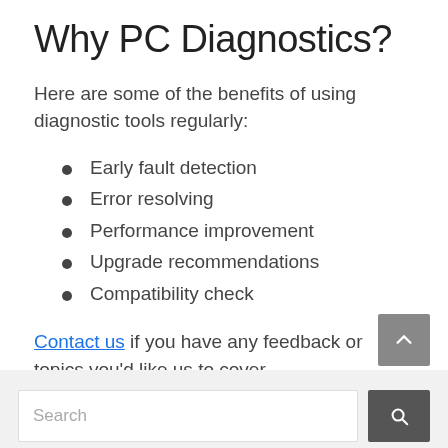Why PC Diagnostics?
Here are some of the benefits of using diagnostic tools regularly:
Early fault detection
Error resolving
Performance improvement
Upgrade recommendations
Compatibility check
Contact us if you have any feedback or topics you'd like us to cover.